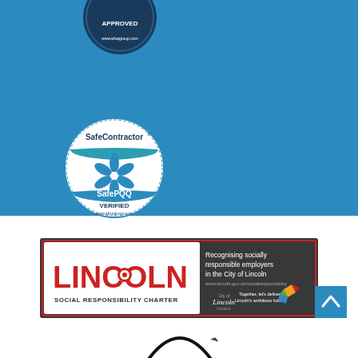[Figure (logo): SafeContractor APPROVED badge - circular dark blue badge with SafeContractor text and APPROVED label, partially cropped at top]
[Figure (logo): SafeContractor SafePQQ VERIFIED circular badge - white circle with blue border, flower/snowflake design, SafePQQ text and VERIFIED label]
[Figure (logo): Lincoln Social Responsibility Charter banner - dark grey background with white text 'Recognising socially responsible employers in the City of Lincoln', Lincoln logo in red on white on left side, City of Lincoln Council logo and colourful bird logo on right]
[Figure (logo): Blue square back-to-top button with white upward chevron arrow]
[Figure (logo): Circular logo partially visible at bottom of page - black arc with small bird/leaf element]